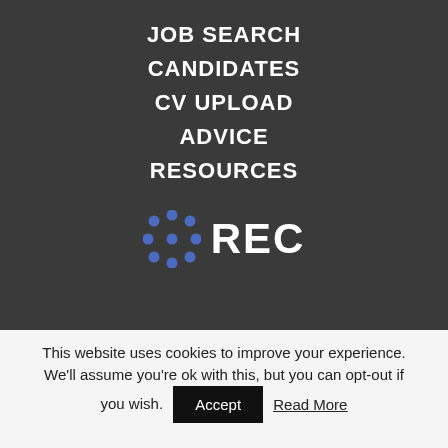JOB SEARCH
CANDIDATES
CV UPLOAD
ADVICE
RESOURCES
[Figure (logo): REC logo with blue dotted diamond icon and white bold text REC]
This website uses cookies to improve your experience. We'll assume you're ok with this, but you can opt-out if you wish.  Accept  Read More